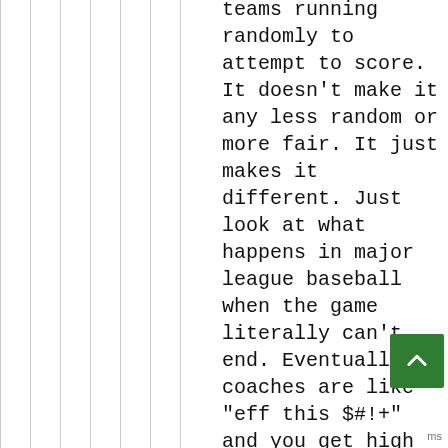teams running randomly to attempt to score. It doesn't make it any less random or more fair. It just makes it different. Just look at what happens in major league baseball when the game literally can't end. Eventually coaches are like "eff this $#!+" and you get high comedy where outfielders come in to pitch. Same thing. Some people like it. Others don't. But it's still random. When you've got two teams that have play for 60 minutes and the game's tied, deciding the game at all is going to be random.